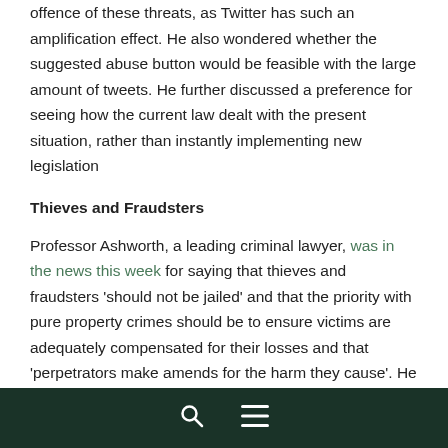offence of these threats, as Twitter has such an amplification effect. He also wondered whether the suggested abuse button would be feasible with the large amount of tweets. He further discussed a preference for seeing how the current law dealt with the present situation, rather than instantly implementing new legislation
Thieves and Fraudsters
Professor Ashworth, a leading criminal lawyer, was in the news this week for saying that thieves and fraudsters 'should not be jailed' and that the priority with pure property crimes should be to ensure victims are adequately compensated for their losses and that 'perpetrators make amends for the harm they cause'. He said that this could be achieved through fines and community sentences, which would 'not require a total loss of liberty'.
Search | Menu